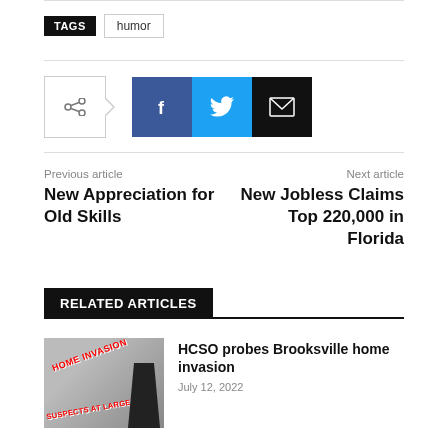TAGS  humor
[Figure (other): Social share buttons: share icon with arrow, Facebook (f), Twitter (bird), Email (envelope)]
Previous article
New Appreciation for Old Skills
Next article
New Jobless Claims Top 220,000 in Florida
RELATED ARTICLES
[Figure (photo): Home invasion news graphic with red text reading HOME INVASION and SUSPECTS AT LARGE, with a silhouette figure]
HCSO probes Brooksville home invasion
July 12, 2022